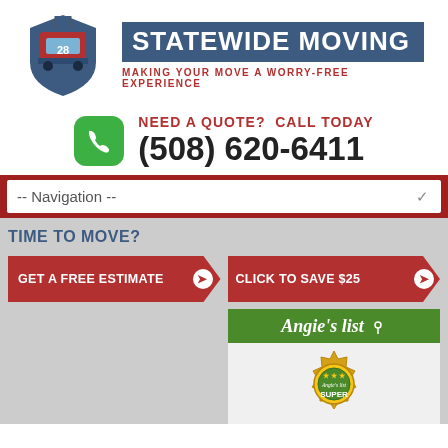[Figure (logo): Statewide Moving company logo with truck icon (shield shape with number 28) and company name text on blue background]
NEED A QUOTE?  CALL TODAY
(508) 620-6411
-- Navigation --
TIME TO MOVE?
GET A FREE ESTIMATE
CLICK TO SAVE $25
[Figure (logo): Angie's list logo and Super Service Award badge (gold medallion with stars)]